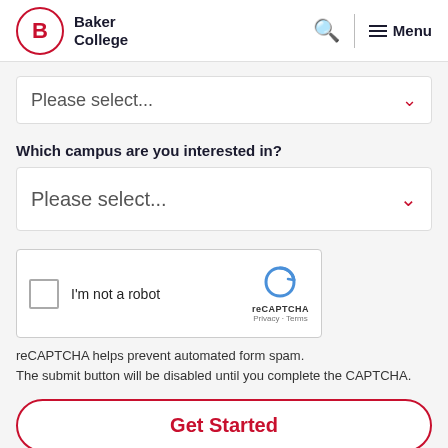[Figure (logo): Baker College logo with red circle containing letter B and text Baker College]
Please select...
Which campus are you interested in?
Please select...
[Figure (screenshot): reCAPTCHA widget with checkbox labeled I'm not a robot and reCAPTCHA branding with Privacy and Terms links]
reCAPTCHA helps prevent automated form spam.
The submit button will be disabled until you complete the CAPTCHA.
Get Started